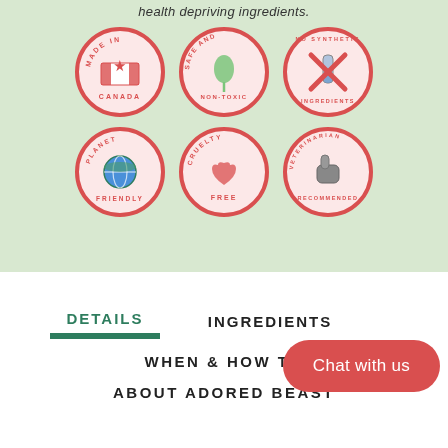health depriving ingredients.
[Figure (illustration): Six circular red-bordered badges arranged in two rows of three. Row 1: Made in Canada (Canadian flag icon), Safe and Non-Toxic (plant/sprout icon), No Synthetic Ingredients (crossed-out test tube). Row 2: Planet Friendly (earth globe with figures), Cruelty Free (hands forming heart), Veterinarian Recommended (gloved hand with thumbs up).]
DETAILS
INGREDIENTS
WHEN & HOW TO
ABOUT ADORED BEAST
Chat with us